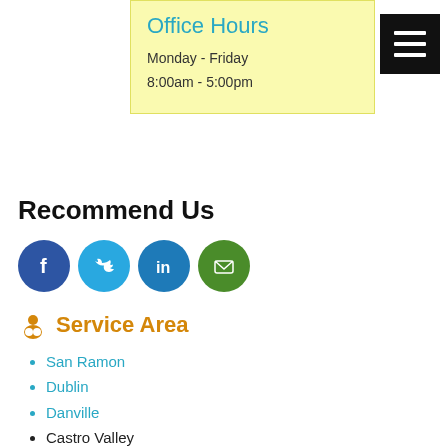Office Hours
Monday - Friday
8:00am - 5:00pm
Recommend Us
[Figure (infographic): Social sharing icons: Facebook (blue circle), Twitter (light blue circle), LinkedIn (blue circle), Email (green circle)]
Service Area
San Ramon
Dublin
Danville
Castro Valley
Diablo
Pleasanton
Moraga
Alamo